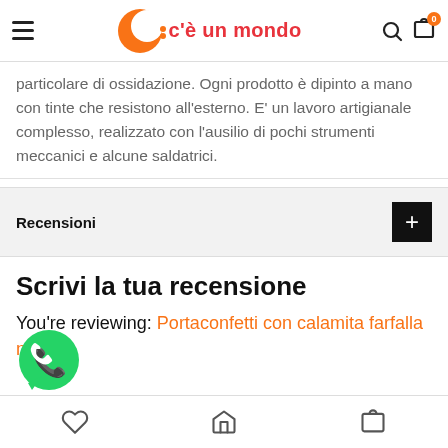c'è un mondo
particolare di ossidazione. Ogni prodotto è dipinto a mano con tinte che resistono all'esterno. E' un lavoro artigianale complesso, realizzato con l'ausilio di pochi strumenti meccanici e alcune saldatrici.
Recensioni
Scrivi la tua recensione
You're reviewing: Portaconfetti con calamita farfalla nastri e